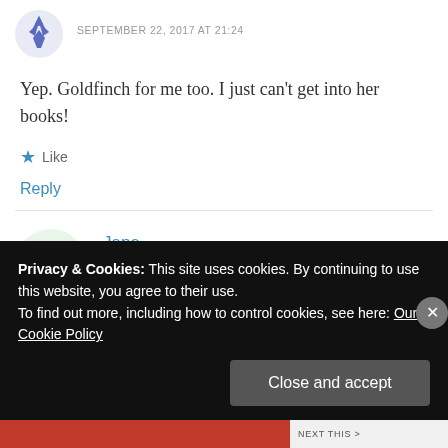SEPTEMBER 22, 2017 AT 21:24
Yep. Goldfinch for me too. I just can't get into her books!
Like
Reply
Jane
JUNE 30, 2017 AT 00:06
Privacy & Cookies: This site uses cookies. By continuing to use this website, you agree to their use. To find out more, including how to control cookies, see here: Our Cookie Policy
Close and accept